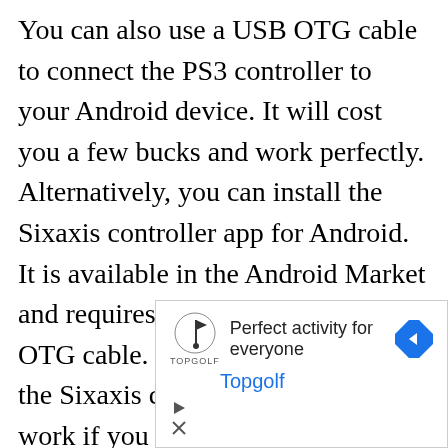You can also use a USB OTG cable to connect the PS3 controller to your Android device. It will cost you a few bucks and work perfectly. Alternatively, you can install the Sixaxis controller app for Android. It is available in the Android Market and requires a compatible USB OTG cable. However, be aware that the Sixaxis controller app will only work if you have the proper USB Host function on your Android device.
[Figure (other): Advertisement banner for Topgolf showing logo, tagline 'Perfect activity for everyone', Topgolf brand name in blue, navigation arrow icon, play button and close button controls.]